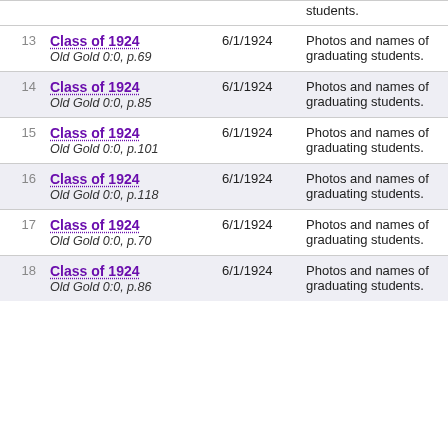| # | Title/Source | Date | Description |
| --- | --- | --- | --- |
|  | students. |  |  |
| 13 | Class of 1924
Old Gold 0:0, p.69 | 6/1/1924 | Photos and names of graduating students. |
| 14 | Class of 1924
Old Gold 0:0, p.85 | 6/1/1924 | Photos and names of graduating students. |
| 15 | Class of 1924
Old Gold 0:0, p.101 | 6/1/1924 | Photos and names of graduating students. |
| 16 | Class of 1924
Old Gold 0:0, p.118 | 6/1/1924 | Photos and names of graduating students. |
| 17 | Class of 1924
Old Gold 0:0, p.70 | 6/1/1924 | Photos and names of graduating students. |
| 18 | Class of 1924
Old Gold 0:0, p.86 | 6/1/1924 | Photos and names of graduating students. |